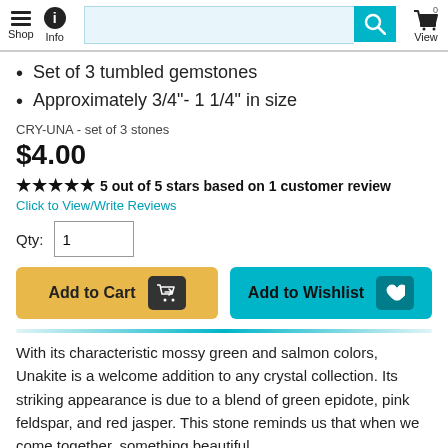Shop | Info | Search | View Cart
Set of 3 tumbled gemstones
Approximately 3/4"- 1 1/4" in size
CRY-UNA - set of 3 stones
$4.00
★★★★★ 5 out of 5 stars based on 1 customer review
Click to View/Write Reviews
Qty: 1
Add to Cart | Add to Wishlist
With its characteristic mossy green and salmon colors, Unakite is a welcome addition to any crystal collection. Its striking appearance is due to a blend of green epidote, pink feldspar, and red jasper. This stone reminds us that when we come together, something beautiful